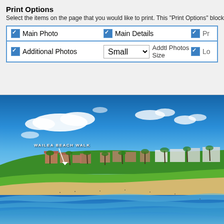Print Options
Select the items on the page that you would like to print. This "Print Options" block
Main Photo (checked), Main Details (checked), Pr... (checked), Additional Photos (checked), Small [dropdown] Addtl Photos Size, Lo... (checked)
[Figure (photo): Aerial coastal photograph of Wailea Beach Walk, Maui, Hawaii. Shows a tropical beach with turquoise water, sandy shoreline, resort buildings with red tile roofs, lush green palm trees and tropical vegetation, and a bright blue sky with white clouds. An arrow annotation points to the Wailea Beach Walk area.]